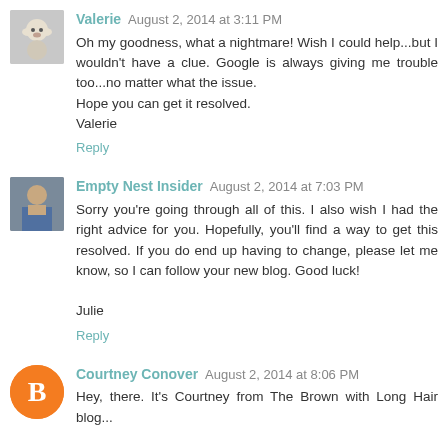[Figure (photo): Avatar photo of Valerie - small dog/stuffed animal image]
Valerie  August 2, 2014 at 3:11 PM
Oh my goodness, what a nightmare! Wish I could help...but I wouldn't have a clue. Google is always giving me trouble too...no matter what the issue.
Hope you can get it resolved.
Valerie
Reply
[Figure (photo): Avatar photo of Empty Nest Insider - woman in blue]
Empty Nest Insider  August 2, 2014 at 7:03 PM
Sorry you're going through all of this. I also wish I had the right advice for you. Hopefully, you'll find a way to get this resolved. If you do end up having to change, please let me know, so I can follow your new blog. Good luck!

Julie
Reply
[Figure (logo): Blogger B icon - orange circle with white B]
Courtney Conover  August 2, 2014 at 8:06 PM
Hey, there. It's Courtney from The Brown with Long Hair blog...

"If anyone out there knows how to resolve this issue or to actually get in touch with someone at Google, please share."

^^^THIS.